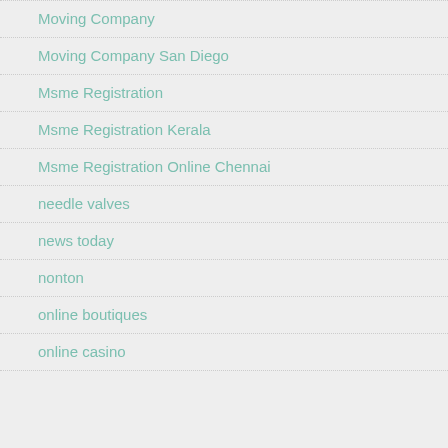Moving Company
Moving Company San Diego
Msme Registration
Msme Registration Kerala
Msme Registration Online Chennai
needle valves
news today
nonton
online boutiques
online casino